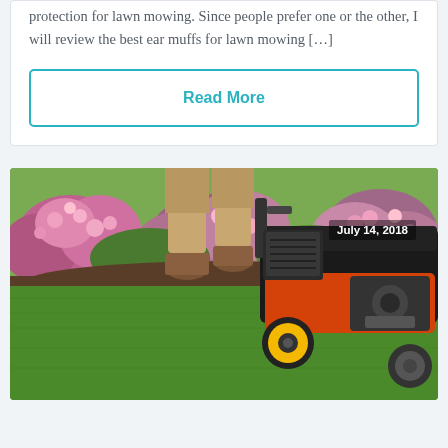protection for lawn mowing. Since people prefer one or the other, I will review the best ear muffs for lawn mowing […]
Read More
[Figure (photo): Person mowing a lawn with an orange and black lawn mower, pink flowering bushes in the background, green grass in the foreground. Date stamp: July 14, 2018.]